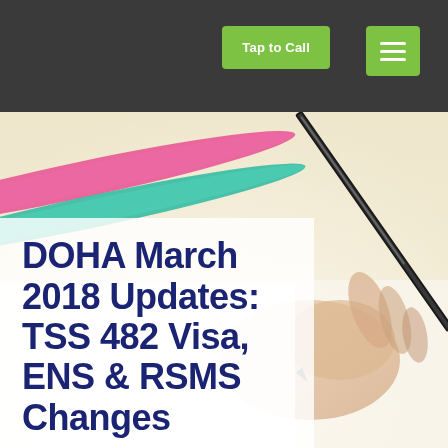Tap to Call  ≡
[Figure (photo): A person's hand writing with a pen on paper, with colorful pens in the background (pink, teal/green). The image has a soft, warm, cream-toned background giving an educational or professional feel.]
DOHA March 2018 Updates: TSS 482 Visa, ENS & RSMS Changes